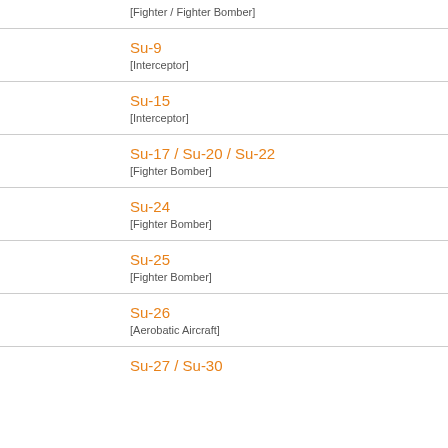[Fighter / Fighter Bomber]
Su-9
[Interceptor]
Su-15
[Interceptor]
Su-17 / Su-20 / Su-22
[Fighter Bomber]
Su-24
[Fighter Bomber]
Su-25
[Fighter Bomber]
Su-26
[Aerobatic Aircraft]
Su-27 / Su-30